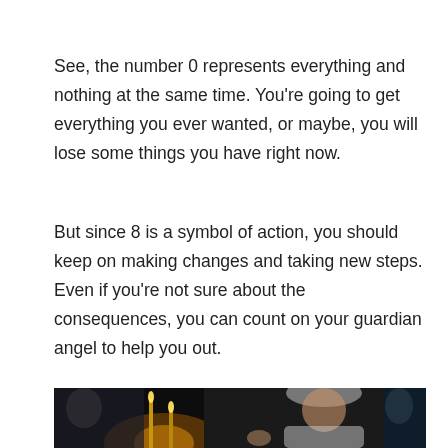See, the number 0 represents everything and nothing at the same time. You're going to get everything you ever wanted, or maybe, you will lose some things you have right now.
But since 8 is a symbol of action, you should keep on making changes and taking new steps. Even if you're not sure about the consequences, you can count on your guardian angel to help you out.
[Figure (photo): A young woman wearing a grey knit beanie hat and fluffy coat, lighting candles in a dark church setting. Other people visible in the blurred background.]